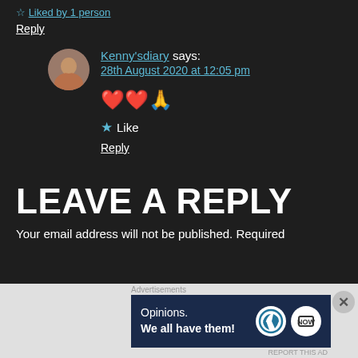Liked by 1 person
Reply
Kenny'sdiary says: 28th August 2020 at 12:05 pm
❤️❤️🙏
Like
Reply
LEAVE A REPLY
Your email address will not be published. Required
[Figure (screenshot): WordPress advertisement banner: Opinions. We all have them!]